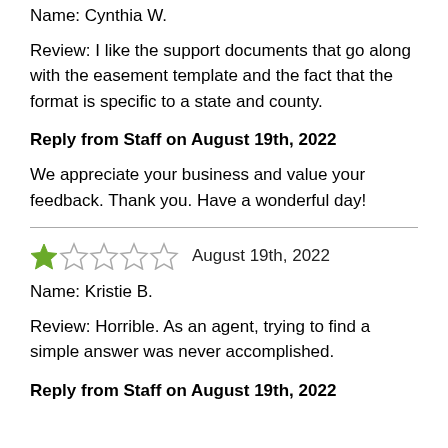Name: Cynthia W.
Review: I like the support documents that go along with the easement template and the fact that the format is specific to a state and county.
Reply from Staff on August 19th, 2022
We appreciate your business and value your feedback. Thank you. Have a wonderful day!
[Figure (other): 1-star rating (1 out of 5 stars, green filled star followed by 4 empty stars), dated August 19th, 2022]
Name: Kristie B.
Review: Horrible. As an agent, trying to find a simple answer was never accomplished.
Reply from Staff on August 19th, 2022